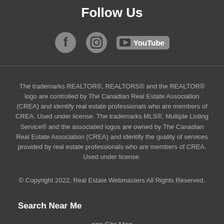Follow Us
[Figure (illustration): Social media icons: Facebook circle icon, Instagram camera icon, YouTube play button with YouTube text]
The trademarks REALTOR®, REALTORS® and the REALTOR® logo are controlled by The Canadian Real Estate Association (CREA) and identify real estate professionals who are members of CREA. Used under license. The trademarks MLS®, Multiple Listing Service® and the associated logos are owned by The Canadian Real Estate Association (CREA) and identify the quality of services provided by real estate professionals who are members of CREA. Used under license.
© Copyright 2022, Real Estate Webmasters All Rights Reserved.
Search Near Me
ngs Site Map